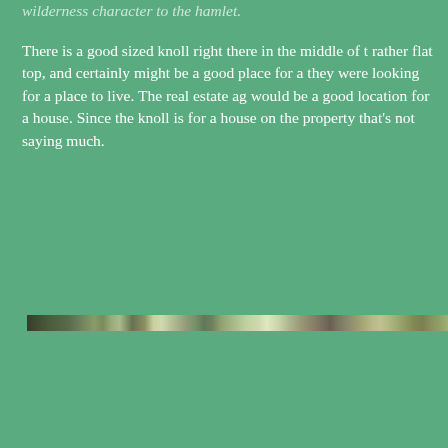wilderness character to the hamlet.
There is a good sized knoll right there in the middle of t rather flat top, and certainly might be a good place for a they were looking for a place to live. The real estate ag would be a good location for a house. Since the knoll is for a house on the property that's not saying much.
[Figure (photo): A narrow horizontal strip of a photograph showing trees and foliage in a wooded area, partially cropped at the top of the image frame.]